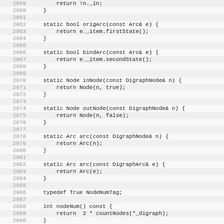[Figure (screenshot): Source code listing showing C++ class method definitions for a graph/digraph adapter, lines 2859-2890, with line numbers on the left and code on the right on alternating light grey background rows.]